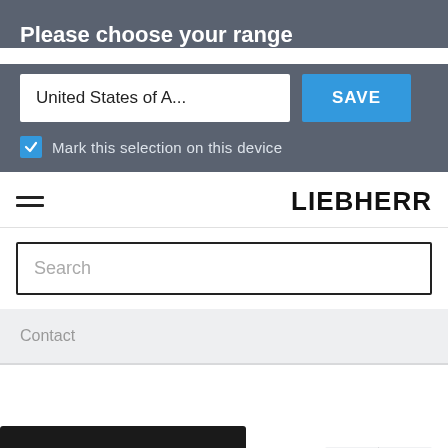Please choose your range
United States of A...
SAVE
Mark this selection on this device
[Figure (logo): LIEBHERR logo in bold black uppercase sans-serif text]
Search
Contact
Share
0
0